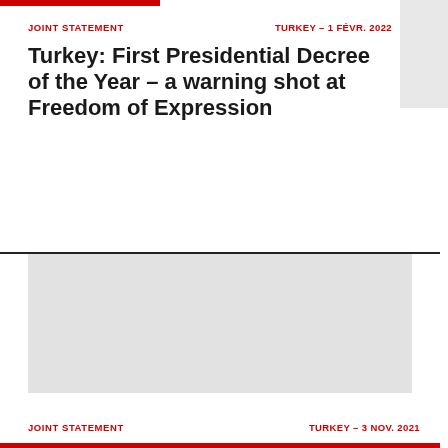JOINT STATEMENT
TURKEY – 1 FÉVR. 2022
Turkey: First Presidential Decree of the Year – a warning shot at Freedom of Expression
[Figure (photo): Gray placeholder image block below a horizontal divider line]
JOINT STATEMENT
TURKEY – 3 NOV. 2021